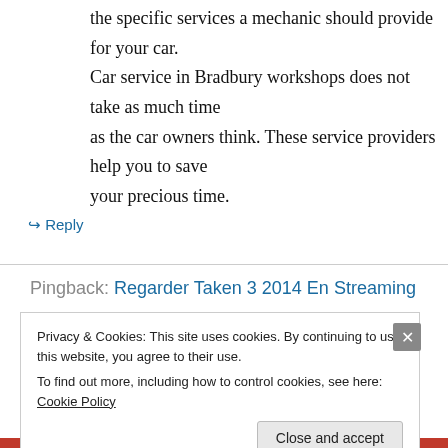the specific services a mechanic should provide for your car. Car service in Bradbury workshops does not take as much time as the car owners think. These service providers help you to save your precious time.
↳ Reply
Pingback: Regarder Taken 3 2014 En Streaming
Privacy & Cookies: This site uses cookies. By continuing to use this website, you agree to their use. To find out more, including how to control cookies, see here: Cookie Policy